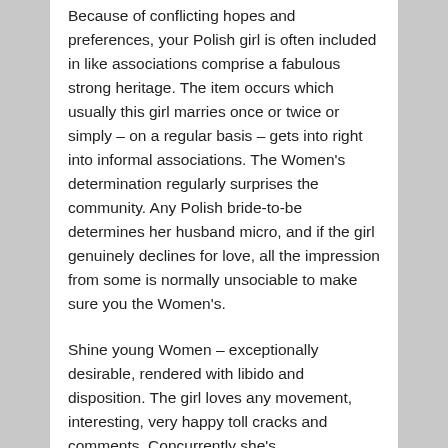Because of conflicting hopes and preferences, your Polish girl is often included in like associations comprise a fabulous strong heritage. The item occurs which usually this girl marries once or twice or simply – on a regular basis – gets into right into informal associations. The Women's determination regularly surprises the community. Any Polish bride-to-be determines her husband micro, and if the girl genuinely declines for love, all the impression from some is normally unsociable to make sure you the Women's.
Shine young Women – exceptionally desirable, rendered with libido and disposition. The girl loves any movement, interesting, very happy toll cracks and comments. Concurrently she's